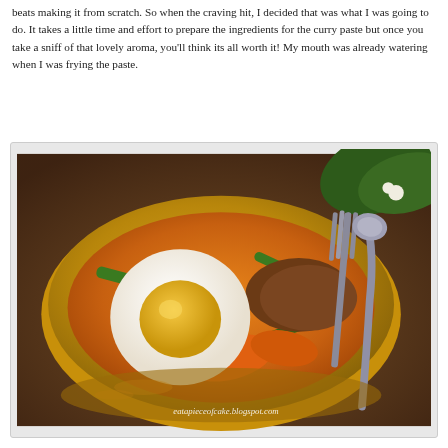beats making it from scratch. So when the craving hit, I decided that was what I was going to do. It takes a little time and effort to prepare the ingredients for the curry paste but once you take a sniff of that lovely aroma, you'll think its all worth it! My mouth was already watering when I was frying the paste.
[Figure (photo): A yellow bowl of curry with a halved boiled egg, green beans, carrots, and meat in an orange curry sauce, with a fork and spoon visible in the background. Watermark reads eatapieceofcake.blogspot.com]